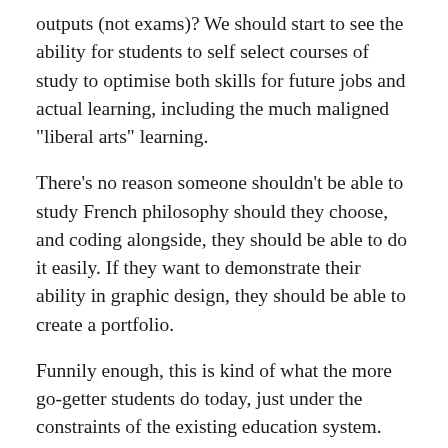outputs (not exams)? We should start to see the ability for students to self select courses of study to optimise both skills for future jobs and actual learning, including the much maligned "liberal arts" learning.
There's no reason someone shouldn't be able to study French philosophy should they choose, and coding alongside, they should be able to do it easily. If they want to demonstrate their ability in graphic design, they should be able to create a portfolio.
Funnily enough, this is kind of what the more go-getter students do today, just under the constraints of the existing education system. Instead if they had the ability to pick and choose, how great would that be!
And even in courses where arguably book learning is incrediblyvaluable, say philosophy, it would a)